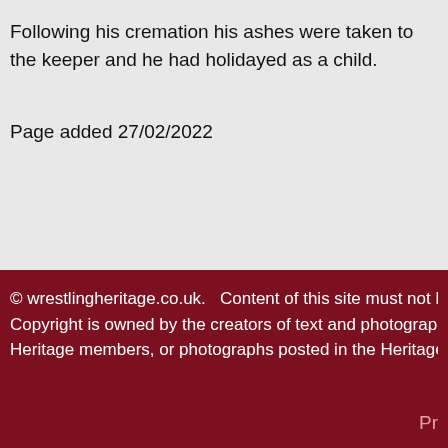Following his cremation his ashes were taken to the keeper and he had holidayed as a child.
Page added 27/02/2022
© wrestlingheritage.co.uk.   Content of this site must not be reprod... Copyright is owned by the creators of text and photographs. We d... Heritage members, or photographs posted in the Heritage Gallerie...